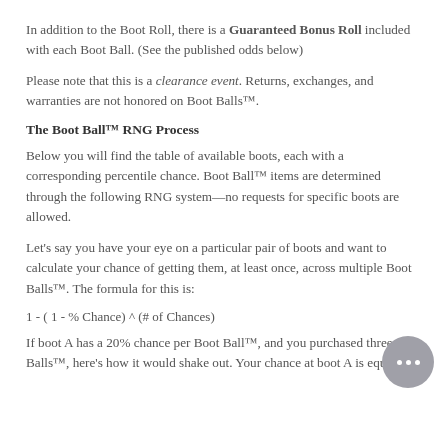In addition to the Boot Roll, there is a Guaranteed Bonus Roll included with each Boot Ball. (See the published odds below)
Please note that this is a clearance event. Returns, exchanges, and warranties are not honored on Boot Balls™.
The Boot Ball™ RNG Process
Below you will find the table of available boots, each with a corresponding percentile chance. Boot Ball™ items are determined through the following RNG system—no requests for specific boots are allowed.
Let's say you have your eye on a particular pair of boots and want to calculate your chance of getting them, at least once, across multiple Boot Balls™. The formula for this is:
If boot A has a 20% chance per Boot Ball™, and you purchased three Boot Balls™, here's how it would shake out. Your chance at boot A is equal to: